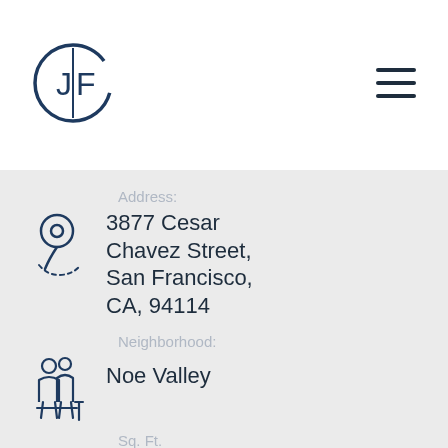[Figure (logo): JF logo in circle, dark navy blue]
[Figure (other): Hamburger menu icon, three horizontal lines]
Address:
3877 Cesar Chavez Street, San Francisco, CA, 94114
Neighborhood:
Noe Valley
Sq. Ft.
2,127 Sq. Ft.
Info:
Bedrooms: 0